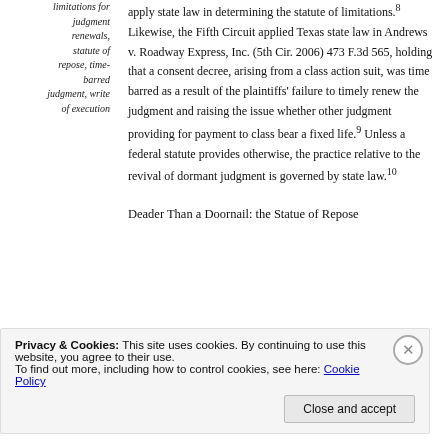limitations for judgment renewals, statute of repose, time-barred judgment, write of execution
apply state law in determining the statute of limitations.8 Likewise, the Fifth Circuit applied Texas state law in Andrews v. Roadway Express, Inc. (5th Cir. 2006) 473 F.3d 565, holding that a consent decree, arising from a class action suit, was time barred as a result of the plaintiffs' failure to timely renew the judgment and raising the issue whether other judgment providing for payment to class bear a fixed life.9 Unless a federal statute provides otherwise, the practice relative to the revival of dormant judgment is governed by state law.10
Deader Than a Doornail: the Statue of Repose
Privacy & Cookies: This site uses cookies. By continuing to use this website, you agree to their use. To find out more, including how to control cookies, see here: Cookie Policy